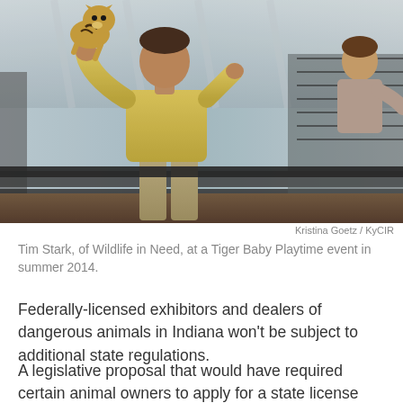[Figure (photo): A man in a yellow polo shirt holding a tiger cub inside a tent enclosure with chain-link fencing, with a woman visible in the background to the right.]
Kristina Goetz / KyCIR
Tim Stark, of Wildlife in Need, at a Tiger Baby Playtime event in summer 2014.
Federally-licensed exhibitors and dealers of dangerous animals in Indiana won't be subject to additional state regulations.
A legislative proposal that would have required certain animal owners to apply for a state license and submit to annual inspections was voted down